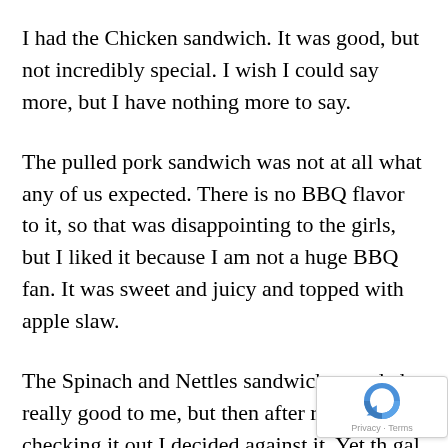I had the Chicken sandwich. It was good, but not incredibly special. I wish I could say more, but I have nothing more to say.
The pulled pork sandwich was not at all what any of us expected. There is no BBQ flavor to it, so that was disappointing to the girls, but I liked it because I am not a huge BBQ fan. It was sweet and juicy and topped with apple slaw.
The Spinach and Nettles sandwich sounded really good to me, but then after really checking it out I decided against it. Yet th gal taking our order told us we needed to try